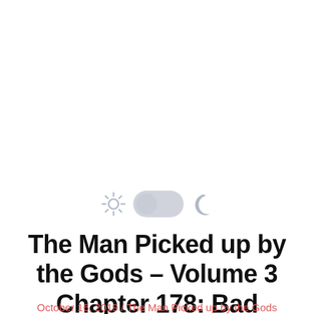[Figure (other): Light/dark mode toggle UI element with sun icon on left, toggle switch in middle (knob on left/light position), and crescent moon icon on right]
The Man Picked up by the Gods – Volume 3 Chapter 178: Bad Timing (1/3)
October 16, 2019 / The Man Picked up by the Gods